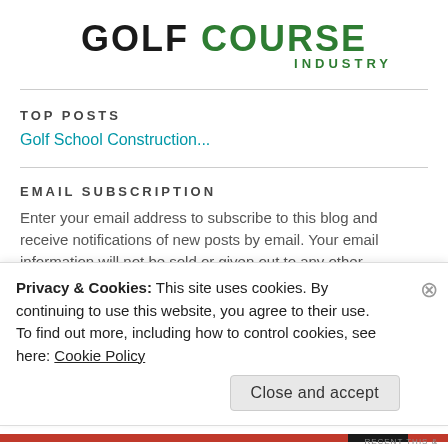[Figure (logo): Golf Course Industry magazine logo — GOLF in black bold, COURSE in green bold, INDUSTRY in green smaller text below]
TOP POSTS
Golf School Construction...
EMAIL SUBSCRIPTION
Enter your email address to subscribe to this blog and receive notifications of new posts by email. Your email information will not be sold or given out to any other company.
Privacy & Cookies: This site uses cookies. By continuing to use this website, you agree to their use.
To find out more, including how to control cookies, see here: Cookie Policy